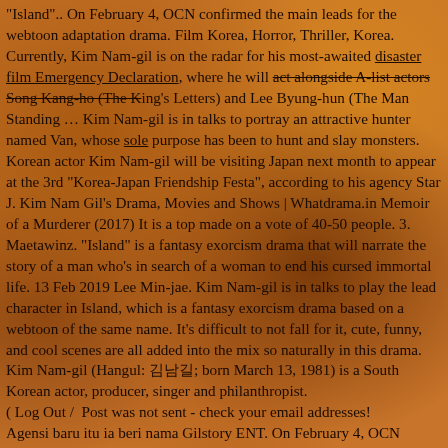"Island".. On February 4, OCN confirmed the main leads for the webtoon adaptation drama. Film Korea, Horror, Thriller, Korea. Currently, Kim Nam-gil is on the radar for his most-awaited disaster film Emergency Declaration, where he will act alongside A-list actors Song Kang-ho (The King's Letters) and Lee Byung-hun (The Man Standing … Kim Nam-gil is in talks to portray an attractive hunter named Van, whose sole purpose has been to hunt and slay monsters. Korean actor Kim Nam-gil will be visiting Japan next month to appear at the 3rd "Korea-Japan Friendship Festa", according to his agency Star J. Kim Nam Gil's Drama, Movies and Shows | Whatdrama.in Memoir of a Murderer (2017) It is a top made on a vote of 40-50 people. 3. Maetawinz. "Island" is a fantasy exorcism drama that will narrate the story of a man who's in search of a woman to end his cursed immortal life. 13 Feb 2019 Lee Min-jae. Kim Nam-gil is in talks to play the lead character in Island, which is a fantasy exorcism drama based on a webtoon of the same name. It's difficult to not fall for it, cute, funny, and cool scenes are all added into the mix so naturally in this drama. Kim Nam-gil (Hangul: 김남길; born March 13, 1981) is a South Korean actor, producer, singer and philanthropist. ( Log Out /  Post was not sent - check your email addresses! Agensi baru itu ia beri nama Gilstory ENT. On February 4, OCN confirmed the main leads for the webtoon adaptation drama. Kim Nam Gil (김남길) was born on March 13, 1981 in South Korea. Kim Nam Gil (The Fiery Priest) has been offered a lead role in the new